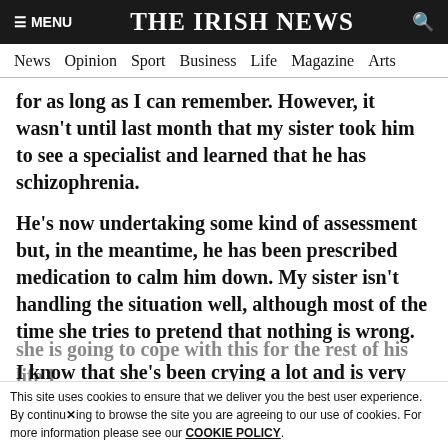≡ MENU   THE IRISH NEWS   🔍
News  Opinion  Sport  Business  Life  Magazine  Arts
for as long as I can remember. However, it wasn't until last month that my sister took him to see a specialist and learned that he has schizophrenia.
He's now undertaking some kind of assessment but, in the meantime, he has been prescribed medication to calm him down. My sister isn't handling the situation well, although most of the time she tries to pretend that nothing is wrong.
I know that she's been crying a lot and is very
she is going to cope with this for the rest of his life I
This site uses cookies to ensure that we deliver you the best user experience. By continuing to browse the site you are agreeing to our use of cookies. For more information please see our COOKIE POLICY